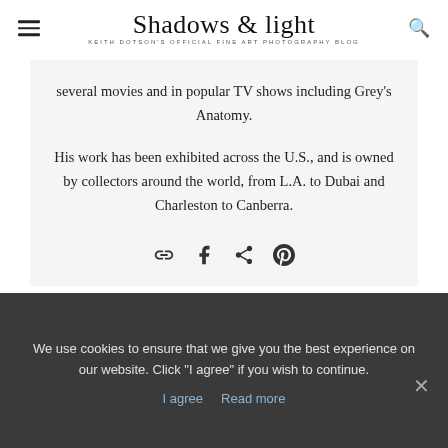Shadows & light — KEITH DOTSON'S OFFICIAL FINE ART PHOTOGRAPHY BLOG
several movies and in popular TV shows including Grey's Anatomy.
His work has been exhibited across the U.S., and is owned by collectors around the world, from L.A. to Dubai and Charleston to Canberra.
[Figure (other): Share icons: link, Facebook, share, Pinterest]
We use cookies to ensure that we give you the best experience on our website. Click "I agree" if you wish to continue.